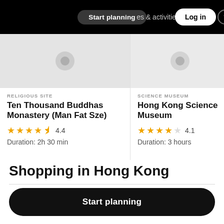Start planning   places & activities   Log in
[Figure (screenshot): Card for Ten Thousand Buddhas Monastery (Man Fat Sze) showing category RELIGIOUS SITE, rating 4.4 stars, duration 2h 30 min]
RELIGIOUS SITE
Ten Thousand Buddhas Monastery (Man Fat Sze)
4.4
Duration: 2h 30 min
[Figure (screenshot): Card for Hong Kong Science Museum showing category SCIENCE MUSEUM, rating 4.1 stars, duration 3 hours]
SCIENCE MUSEUM
Hong Kong Science Museum
4.1
Duration: 3 hours
Shopping in Hong Kong
Start planning